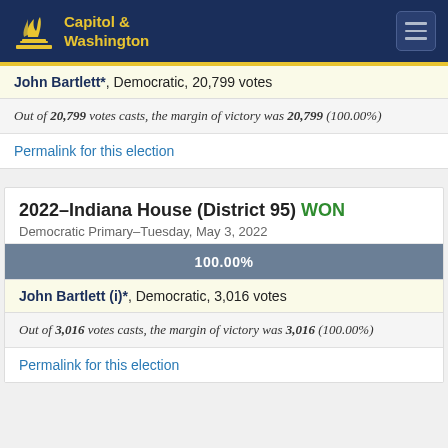Capitol & Washington
John Bartlett*, Democratic, 20,799 votes
Out of 20,799 votes casts, the margin of victory was 20,799 (100.00%)
Permalink for this election
2022–Indiana House (District 95) WON
Democratic Primary–Tuesday, May 3, 2022
[Figure (bar-chart): 100.00%]
John Bartlett (i)*, Democratic, 3,016 votes
Out of 3,016 votes casts, the margin of victory was 3,016 (100.00%)
Permalink for this election